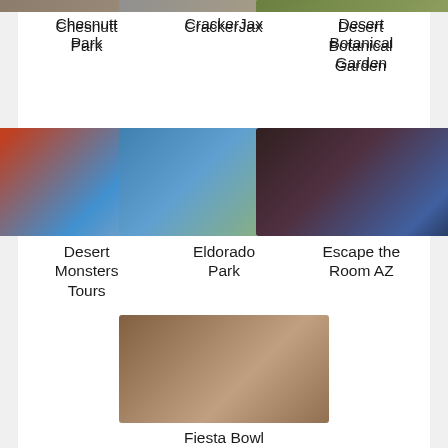[Figure (photo): Chesnutt Park thumbnail image (partially cropped at top)]
Chesnutt Park
[Figure (photo): CrackerJax thumbnail image (partially cropped at top)]
CrackerJax
[Figure (photo): Desert Botanical Garden thumbnail image (partially cropped at top)]
Desert Botanical Garden
[Figure (photo): Desert Monsters Tours - off-road vehicle photo]
Desert Monsters Tours
[Figure (photo): Eldorado Park - lake and palm trees photo]
Eldorado Park
[Figure (photo): Escape the Room AZ - people in dim room photo]
Escape the Room AZ
[Figure (photo): Fiesta Bowl Museum - football helmets on wall shelves]
Fiesta Bowl Museum